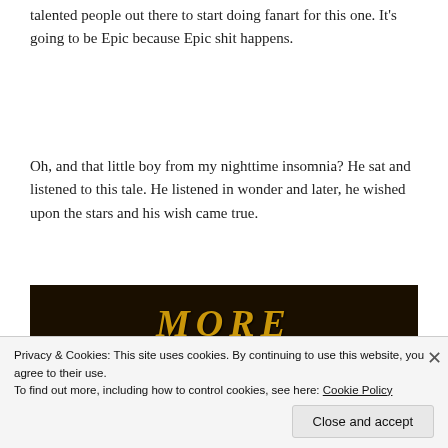talented people out there to start doing fanart for this one. It's going to be Epic because Epic shit happens.
Oh, and that little boy from my nighttime insomnia? He sat and listened to this tale. He listened in wonder and later, he wished upon the stars and his wish came true.
[Figure (photo): Dark wooden background with gold decorative text reading 'MORE']
Privacy & Cookies: This site uses cookies. By continuing to use this website, you agree to their use.
To find out more, including how to control cookies, see here: Cookie Policy